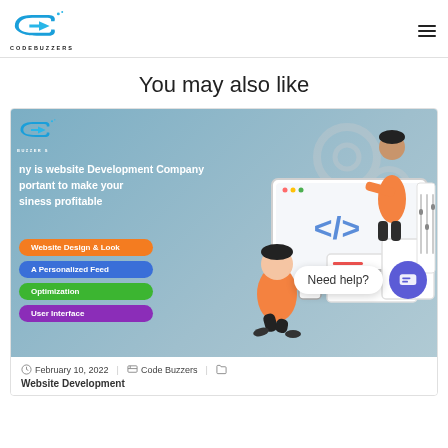CODEBUZZERS
You may also like
[Figure (illustration): Blog post card with website development illustration showing developers working on a laptop screen with features listed as colored pills: Website Design & Look, A Personalized Feed, Optimization, User Interface. Card includes CodeBuzzers logo and headline 'ny is website Development Company portant to make your siness profitable'.]
February 10, 2022 | Code Buzzers | Website Development